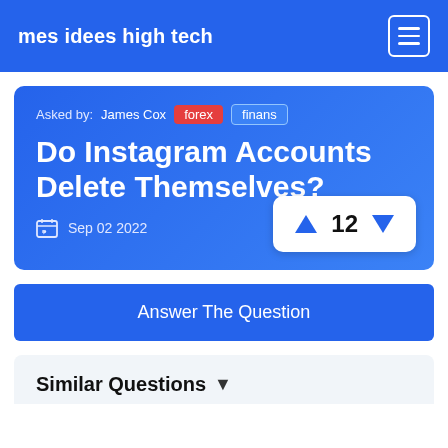mes idees high tech
Asked by: James Cox  forex  finans
Do Instagram Accounts Delete Themselves?
Sep 02 2022
▲ 12 ▼
Answer The Question
Similar Questions